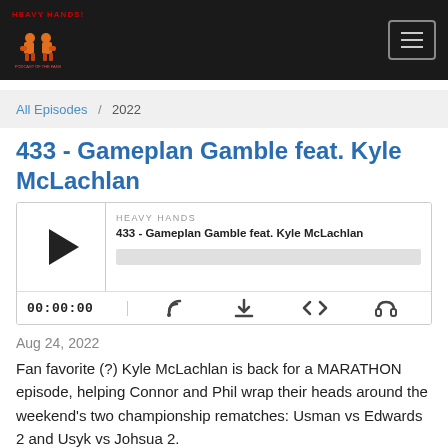HEAVY HANDS! — Navigation header with logo and hamburger menu
All Episodes / 2022
433 - Gameplan Gamble feat. Kyle McLachlan
[Figure (other): Audio player widget for episode '433 - Gameplan Gamble feat. Kyle McLachlan' on Heavy Hands podcast, showing play button, progress bar, timestamp 00:00:00, and control icons]
Aug 24, 2022
Fan favorite (?) Kyle McLachlan is back for a MARATHON episode, helping Connor and Phil wrap their heads around the weekend's two championship rematches: Usman vs Edwards 2 and Usyk vs Johsua 2.
Coming soon to our Patreon, discussion of Landwehr-Onama,